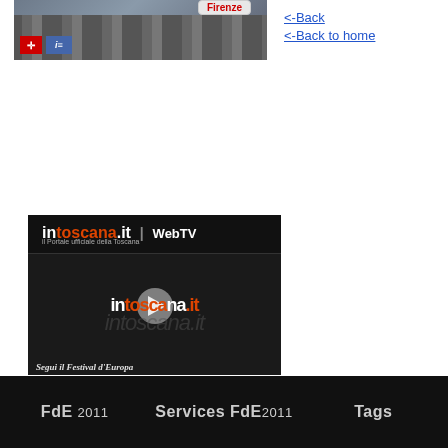[Figure (screenshot): Top banner image showing cityscape of Florence with Firenze label bubble and logos (TeleTel and i logo)]
<-Back
<-Back to home
[Figure (screenshot): intoscana.it WebTV video player embed showing play button and Segui il Festival d'Europa text]
FdE 2011    Services FdE2011    Tags